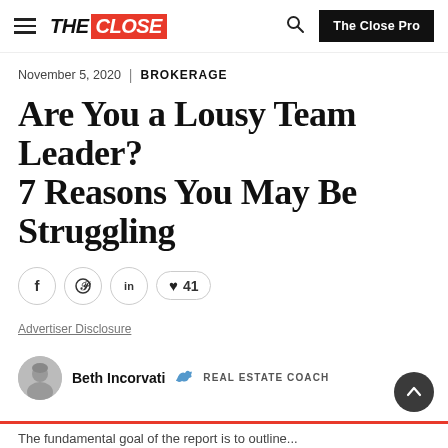THE CLOSE | The Close Pro
November 5, 2020 | BROKERAGE
Are You a Lousy Team Leader? 7 Reasons You May Be Struggling
Social share buttons: Facebook, Pinterest, LinkedIn, 41 likes
Advertiser Disclosure
Beth Incorvati · REAL ESTATE COACH
The fundamental goal of the report is to outline...